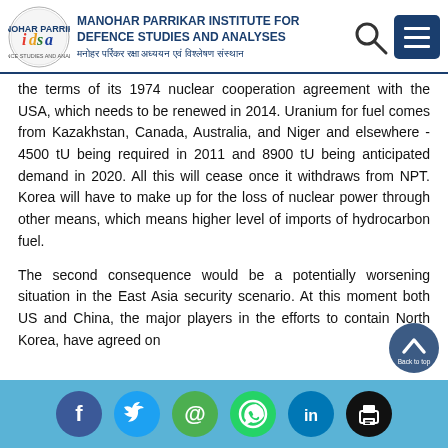MANOHAR PARRIKAR INSTITUTE FOR DEFENCE STUDIES AND ANALYSES | मनोहर पर्रिकर रक्षा अध्ययन एवं विश्लेषण संस्थान
the terms of its 1974 nuclear cooperation agreement with the USA, which needs to be renewed in 2014. Uranium for fuel comes from Kazakhstan, Canada, Australia, and Niger and elsewhere - 4500 tU being required in 2011 and 8900 tU being anticipated demand in 2020. All this will cease once it withdraws from NPT. Korea will have to make up for the loss of nuclear power through other means, which means higher level of imports of hydrocarbon fuel.
The second consequence would be a potentially worsening situation in the East Asia security scenario. At this moment both US and China, the major players in the efforts to contain North Korea, have agreed on
Social share icons: Facebook, Twitter, Email, WhatsApp, LinkedIn, Print